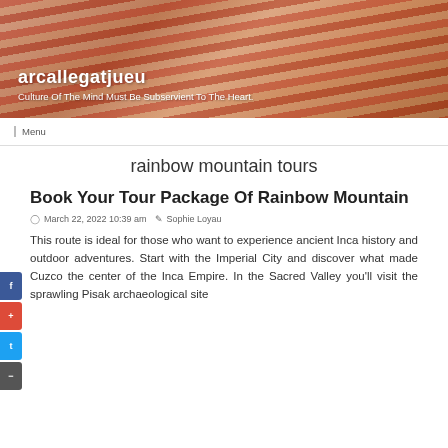[Figure (photo): Header banner photo showing a person painting or doing crafts with colorful watercolor paints, overlaid with blog site name and tagline]
arcallegatjueu
Culture Of The Mind Must Be Subservient To The Heart.
Menu
rainbow mountain tours
Book Your Tour Package Of Rainbow Mountain
March 22, 2022 10:39 am  Sophie Loyau
This route is ideal for those who want to experience ancient Inca history and outdoor adventures. Start with the Imperial City and discover what made Cuzco the center of the Inca Empire. In the Sacred Valley you'll visit the sprawling Pisak archaeological site